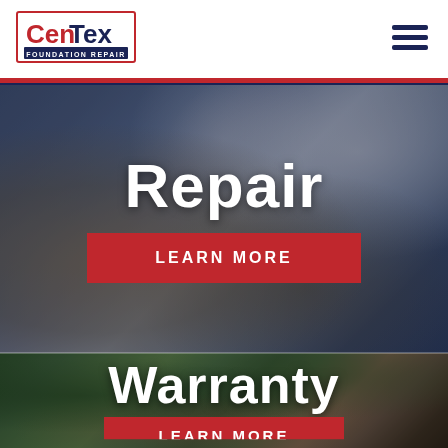[Figure (logo): CenTex Foundation Repair logo — red and navy blue text with tagline]
[Figure (other): Hamburger menu icon (three horizontal lines)]
[Figure (photo): Background photo of foundation repair excavation work — worker in white cap examining foundation]
Repair
[Figure (other): Red button labeled LEARN MORE]
[Figure (photo): Background photo of house exterior with trees — green foliage, residential building]
Warranty
[Figure (other): Partially visible red LEARN MORE button at bottom]